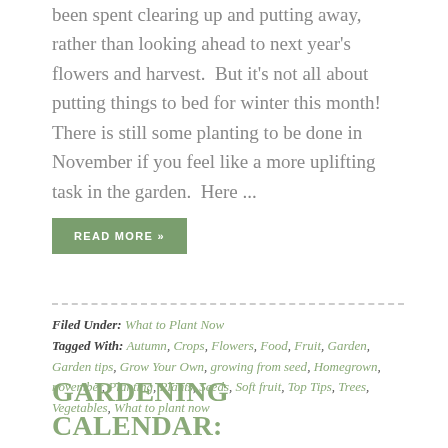been spent clearing up and putting away, rather than looking ahead to next year's flowers and harvest.  But it's not all about putting things to bed for winter this month! There is still some planting to be done in November if you feel like a more uplifting task in the garden.  Here ...
READ MORE »
Filed Under: What to Plant Now
Tagged With: Autumn, Crops, Flowers, Food, Fruit, Garden, Garden tips, Grow Your Own, growing from seed, Homegrown, november, Planting, Plants, Seeds, Soft fruit, Top Tips, Trees, Vegetables, What to plant now
GARDENING CALENDAR: WHAT TO PLANT IN OCTOBER